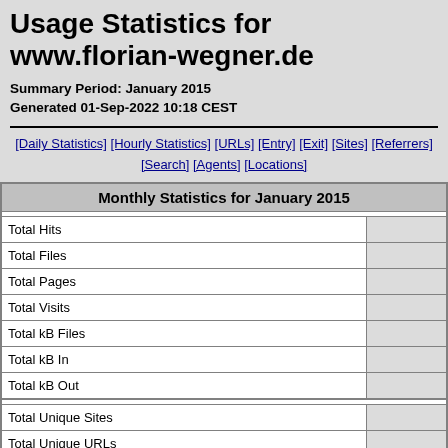Usage Statistics for www.florian-wegner.de
Summary Period: January 2015
Generated 01-Sep-2022 10:18 CEST
[Daily Statistics] [Hourly Statistics] [URLs] [Entry] [Exit] [Sites] [Referrers] [Search] [Agents] [Locations]
| Monthly Statistics for January 2015 |  |
| --- | --- |
| Total Hits |  |
| Total Files |  |
| Total Pages |  |
| Total Visits |  |
| Total kB Files |  |
| Total kB In |  |
| Total kB Out |  |
| Total Unique Sites |  |
| Total Unique URLs |  |
| Total Unique Referrers |  |
| Total Unique User Agents |  |